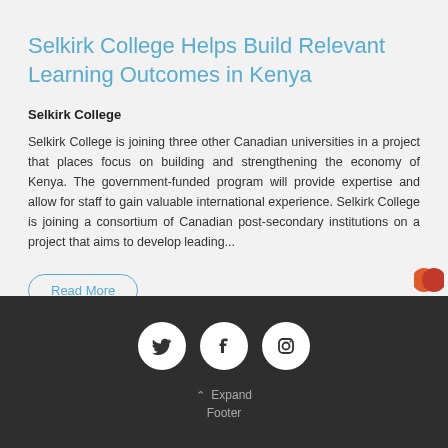Selkirk College Helps Build Relevant Learning Outcomes in Kenya
Selkirk College
Selkirk College is joining three other Canadian universities in a project that places focus on building and strengthening the economy of Kenya. The government-funded program will provide expertise and allow for staff to gain valuable international experience. Selkirk College is joining a consortium of Canadian post-secondary institutions on a project that aims to develop leading...
Read More
[Figure (infographic): Social media icons for Twitter, Facebook, and Instagram in white circles on dark footer background]
Expand Footer